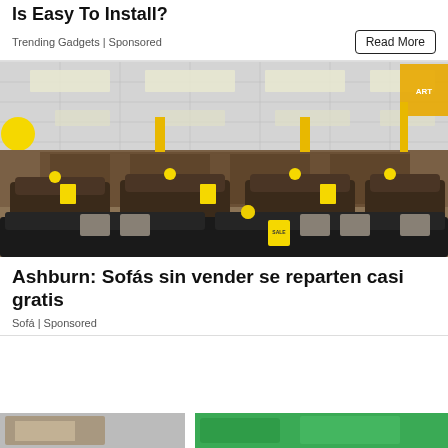Is Easy To Install?
Trending Gadgets | Sponsored
[Figure (photo): Interior of a furniture showroom filled with rows of dark leather sofas and sectionals, decorated with yellow balloons and yellow sale tags. Yellow support pillars and a drop ceiling with fluorescent lights are visible.]
Ashburn: Sofás sin vender se reparten casi gratis
Sofá | Sponsored